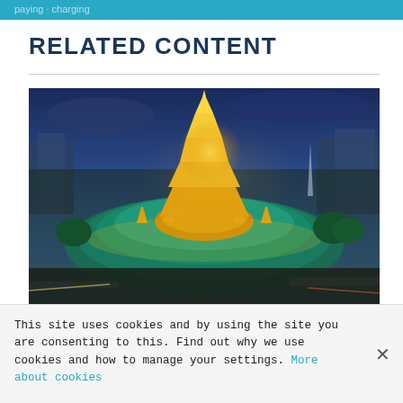paying charging
RELATED CONTENT
[Figure (photo): Aerial night view of Sule Pagoda in Yangon, Myanmar, illuminated in gold, surrounded by city buildings and streets at dusk]
This site uses cookies and by using the site you are consenting to this. Find out why we use cookies and how to manage your settings. More about cookies